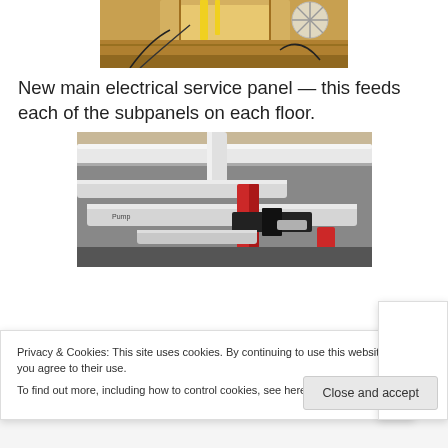[Figure (photo): Partial view of a new main electrical service panel with wiring and equipment visible]
New main electrical service panel — this feeds each of the subpanels on each floor.
[Figure (photo): Close-up view of plumbing pipes and mechanical equipment including white PVC pipes, a red valve or component, and black fittings]
Privacy & Cookies: This site uses cookies. By continuing to use this website, you agree to their use.
To find out more, including how to control cookies, see here: Cookie Policy